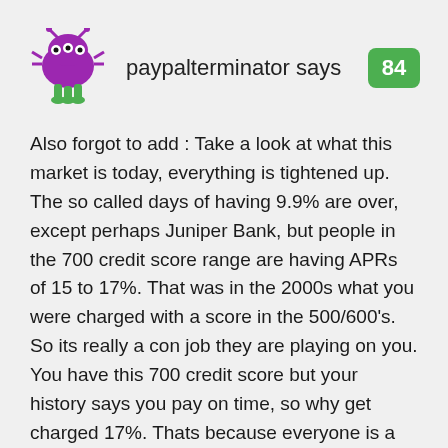[Figure (illustration): Purple cartoon monster avatar with green legs and multiple eyes]
paypalterminator says
84
Also forgot to add : Take a look at what this market is today, everything is tightened up. The so called days of having 9.9% are over, except perhaps Juniper Bank, but people in the 700 credit score range are having APRs of 15 to 17%. That was in the 2000s what you were charged with a score in the 500/600's. So its really a con job they are playing on you. You have this 700 credit score but your history says you pay on time, so why get charged 17%. Thats because everyone is a walking droid with no ability to fight